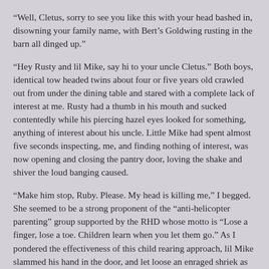“Well, Cletus, sorry to see you like this with your head bashed in, disowning your family name, with Bert’s Goldwing rusting in the barn all dinged up.”
“Hey Rusty and lil Mike, say hi to your uncle Cletus.” Both boys, identical tow headed twins about four or five years old crawled out from under the dining table and stared with a complete lack of interest at me. Rusty had a thumb in his mouth and sucked contentedly while his piercing hazel eyes looked for something, anything of interest about his uncle. Little Mike had spent almost five seconds inspecting, me, and finding nothing of interest, was now opening and closing the pantry door, loving the shake and shiver the loud banging caused.
“Make him stop, Ruby. Please. My head is killing me,” I begged. She seemed to be a strong proponent of the “anti-helicopter parenting” group supported by the RHD whose motto is “Lose a finger, lose a toe. Children learn when you let them go.” As I pondered the effectiveness of this child rearing approach, lil Mike slammed his hand in the door, and let loose an enraged shriek as he cradled his injury to his chest, kicking away his mother who half-